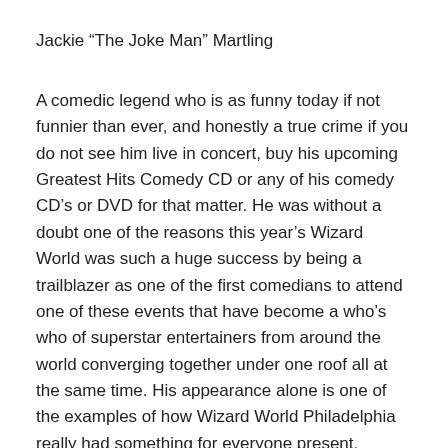Jackie “The Joke Man” Martling
A comedic legend who is as funny today if not funnier than ever, and honestly a true crime if you do not see him live in concert, buy his upcoming Greatest Hits Comedy CD or any of his comedy CD’s or DVD for that matter. He was without a doubt one of the reasons this year’s Wizard World was such a huge success by being a trailblazer as one of the first comedians to attend one of these events that have become a who’s who of superstar entertainers from around the world converging together under one roof all at the same time. His appearance alone is one of the examples of how Wizard World Philadelphia really had something for everyone present.
Promoting: http://jokeland.com/